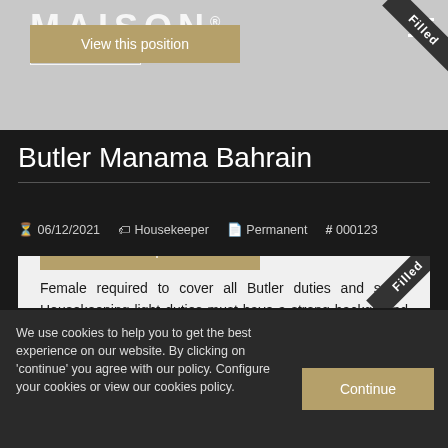[Figure (screenshot): Maison Private Staff logo with 'View this position' button overlay and hamburger menu icon, with a 'Filled' ribbon in top-right corner]
Butler Manama Bahrain
06/12/2021  Housekeeper  Permanent  # 000123
Female required to cover all Butler duties and some Housekeeping light duties must have a strong background in F & B Service with emphasis on an eye for detail , 5* service should be savvy and work...
View this position
We use cookies to help you to get the best experience on our website. By clicking on 'continue' you agree with our policy. Configure your cookies or view our cookies policy.
Continue